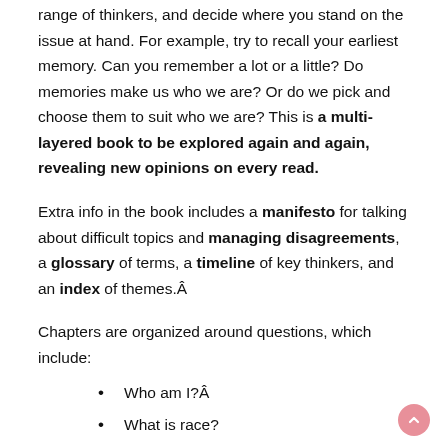range of thinkers, and decide where you stand on the issue at hand. For example, try to recall your earliest memory. Can you remember a lot or a little? Do memories make us who we are? Or do we pick and choose them to suit who we are? This is a multi-layered book to be explored again and again, revealing new opinions on every read.
Extra info in the book includes a manifesto for talking about difficult topics and managing disagreements, a glossary of terms, a timeline of key thinkers, and an index of themes.Â
Chapters are organized around questions, which include:
Who am I?Â
What is race?
What is gender?
What happens when we die?